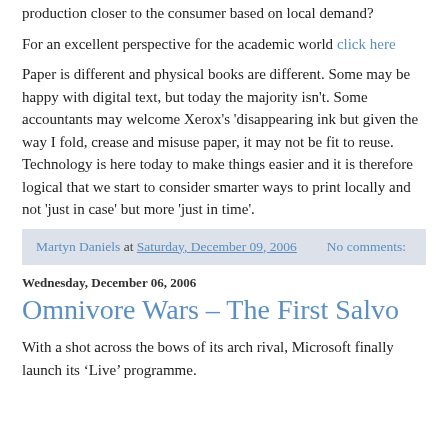production closer to the consumer based on local demand?
For an excellent perspective for the academic world click here
Paper is different and physical books are different. Some may be happy with digital text, but today the majority isn't. Some accountants may welcome Xerox's 'disappearing ink but given the way I fold, crease and misuse paper, it may not be fit to reuse. Technology is here today to make things easier and it is therefore logical that we start to consider smarter ways to print locally and not 'just in case' but more 'just in time'.
Martyn Daniels at Saturday, December 09, 2006  No comments:
Wednesday, December 06, 2006
Omnivore Wars – The First Salvo
With a shot across the bows of its arch rival, Microsoft finally launch its 'Live' programme.